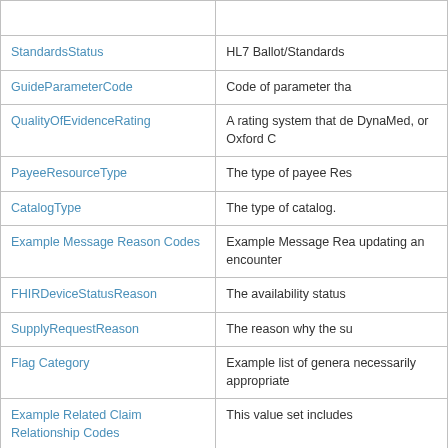| Name | Description |
| --- | --- |
| StandardsStatus | HL7 Ballot/Standards |
| GuideParameterCode | Code of parameter tha |
| QualityOfEvidenceRating | A rating system that de DynaMed, or Oxford C |
| PayeeResourceType | The type of payee Res |
| CatalogType | The type of catalog. |
| Example Message Reason Codes | Example Message Rea updating an encounter |
| FHIRDeviceStatusReason | The availability status |
| SupplyRequestReason | The reason why the su |
| Flag Category | Example list of genera necessarily appropriate |
| Example Related Claim Relationship Codes | This value set includes |